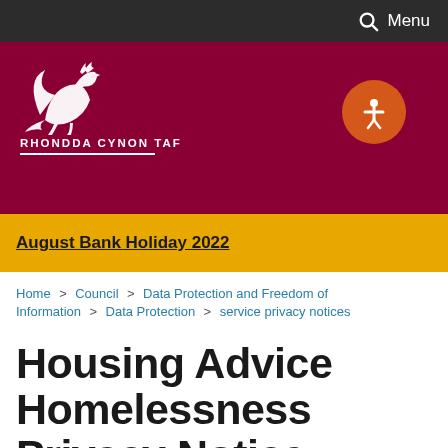Menu
[Figure (logo): Rhondda Cynon Taf Council logo: white dragon on dark red background with text RHONDDA CYNON TAF]
August Bank Holiday 2022
Home > Council > Data Protection and Freedom of Information > Data Protection > service privacy notices
Housing Advice Homelessness Privacy Notice